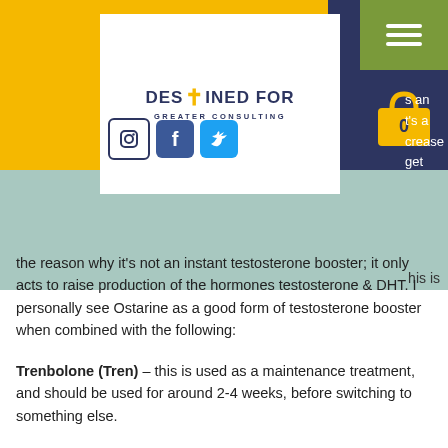[Figure (logo): Destined For Greater Consulting logo with cross symbol, social media icons (Instagram, Facebook, Twitter), navigation hamburger menu, and shopping cart]
...is an ...t's a ...crease ...get ...his is the reason why it's not an instant testosterone booster; it only acts to raise production of the hormones testosterone & DHT. I personally see Ostarine as a good form of testosterone booster when combined with the following:
Trenbolone (Tren) – this is used as a maintenance treatment, and should be used for around 2-4 weeks, before switching to something else.
Progestin (Pros) – a very common...